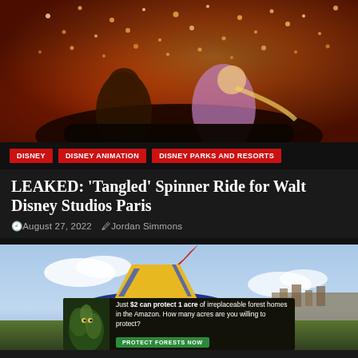[Figure (photo): Scene from Disney's Tangled animated film showing two characters in a boat surrounded by floating lanterns at night, warm orange and golden tones]
DISNEY   DISNEY ANIMATION   DISNEY PARKS AND RESORTS
LEAKED: 'Tangled' Spinner Ride for Walt Disney Studios Paris
August 27, 2022   Jordan Simmons
[Figure (photo): Close-up of Pinocchio character figure or statue with yellow hat against a blue sky with clouds and a cityscape in the background]
Just $2 can protect 1 acre of irreplaceable forest homes in the Amazon. How many acres are you willing to protect?  PROTECT FORESTS NOW